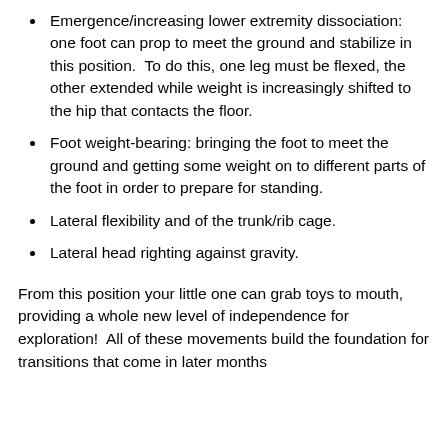Emergence/increasing lower extremity dissociation: one foot can prop to meet the ground and stabilize in this position.  To do this, one leg must be flexed, the other extended while weight is increasingly shifted to the hip that contacts the floor.
Foot weight-bearing: bringing the foot to meet the ground and getting some weight on to different parts of the foot in order to prepare for standing.
Lateral flexibility and of the trunk/rib cage.
Lateral head righting against gravity.
From this position your little one can grab toys to mouth, providing a whole new level of independence for exploration!  All of these movements build the foundation for transitions that come in later months